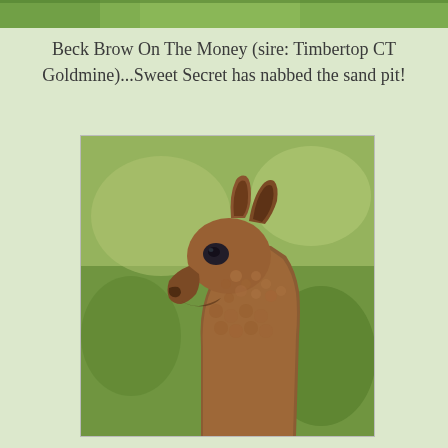[Figure (photo): Narrow horizontal strip at top showing a partial outdoor scene with green grass/foliage, cropped alpaca image at top edge]
Beck Brow On The Money (sire: Timbertop CT Goldmine)...Sweet Secret has nabbed the sand pit!
[Figure (photo): Close-up side profile photograph of a young brown alpaca (cria) with fluffy curly fur, pointed ears, dark eye, against a blurred green background]